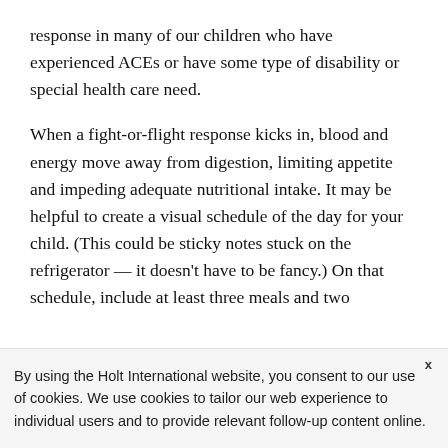response in many of our children who have experienced ACEs or have some type of disability or special health care need.
When a fight-or-flight response kicks in, blood and energy move away from digestion, limiting appetite and impeding adequate nutritional intake. It may be helpful to create a visual schedule of the day for your child. (This could be sticky notes stuck on the refrigerator — it doesn't have to be fancy.) On that schedule, include at least three meals and two
By using the Holt International website, you consent to our use of cookies. We use cookies to tailor our web experience to individual users and to provide relevant follow-up content online.